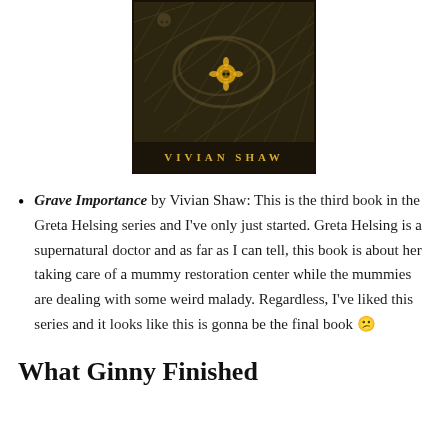[Figure (illustration): Book cover for a novel by Vivian Shaw, showing dark gothic artwork with ropes/bandages and a gold skull flower motif, with author name 'VIVIAN SHAW' at the bottom in gold letters on dark background.]
Grave Importance by Vivian Shaw: This is the third book in the Greta Helsing series and I've only just started. Greta Helsing is a supernatural doctor and as far as I can tell, this book is about her taking care of a mummy restoration center while the mummies are dealing with some weird malady. Regardless, I've liked this series and it looks like this is gonna be the final book 😕
What Ginny Finished